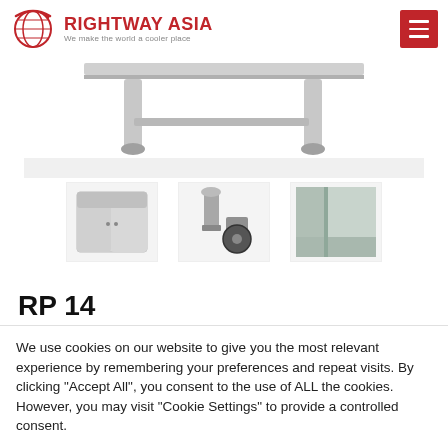RIGHTWAY ASIA — We make the world a cooler place
[Figure (photo): Stainless steel refrigeration unit legs and crossbar, bottom portion of commercial refrigerator]
[Figure (photo): Thumbnail: Commercial upright refrigerator with two doors]
[Figure (photo): Thumbnail: Adjustable leg and castor wheel accessories]
[Figure (photo): Thumbnail: Interior corner/floor of stainless steel refrigerator]
RP 14
We use cookies on our website to give you the most relevant experience by remembering your preferences and repeat visits. By clicking "Accept All", you consent to the use of ALL the cookies. However, you may visit "Cookie Settings" to provide a controlled consent.